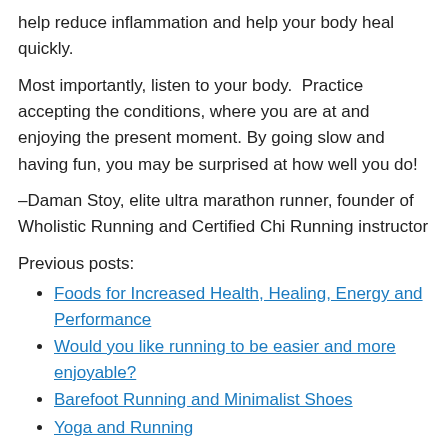help reduce inflammation and help your body heal quickly.
Most importantly, listen to your body.  Practice accepting the conditions, where you are at and enjoying the present moment. By going slow and having fun, you may be surprised at how well you do!
–Daman Stoy, elite ultra marathon runner, founder of Wholistic Running and Certified Chi Running instructor
Previous posts:
Foods for Increased Health, Healing, Energy and Performance
Would you like running to be easier and more enjoyable?
Barefoot Running and Minimalist Shoes
Yoga and Running